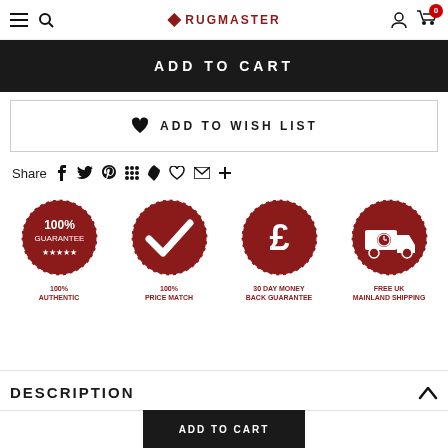RUGMASTER
ADD TO CART
♥  ADD TO WISH LIST
Share
[Figure (infographic): Four trust badge icons: 100% AUTHENTIC, 100% PRICE MATCH, 30 DAY MONEY BACK GUARANTEE, FREE UK MAINLAND SHIPPING. Each is a dark red circular badge with scalloped edges and a white icon/text inside.]
DESCRIPTION
ADD TO CART